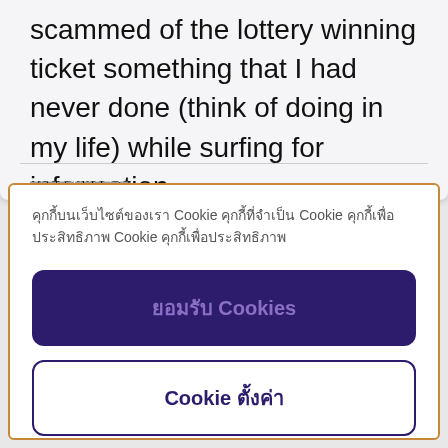scammed of the lottery winning ticket something that I had never done (think of doing in my life) while surfing for information .
คุกกี้บนเว็บไซต์ของเรา Cookie คุกกี้ที่จำเป็น Cookie คุกกี้เพื่อประสิทธิภาพ Cookie คุกกี้เพื่อประสิทธิภาพ
ยอมรับ Cookies
Cookie ตั้งค่า